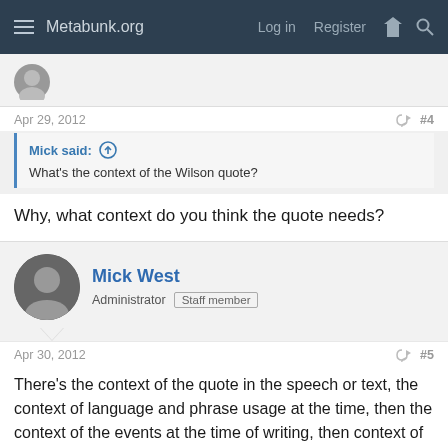Metabunk.org  Log in  Register
Apr 29, 2012  #4
Mick said: ↑  What's the context of the Wilson quote?
Why, what context do you think the quote needs?
Mick West  Administrator  Staff member
Apr 30, 2012  #5
There's the context of the quote in the speech or text, the context of language and phrase usage at the time, then the context of the events at the time of writing, then context of Wilson as a person, and then the broader context of related